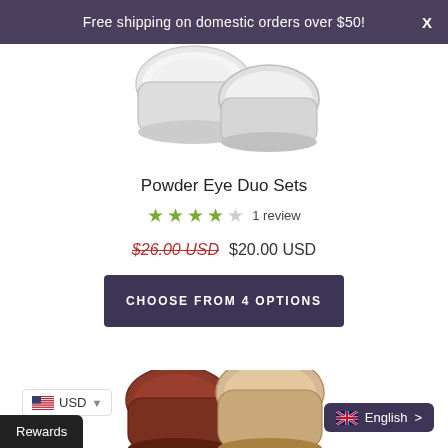Free shipping on domestic orders over $50!
[Figure (photo): Two small clear glass powder jars with white powder product, viewed from above, partially cropped at top]
Powder Eye Duo Sets
★★★★☆ 1 review
$26.00 USD $20.00 USD
CHOOSE FROM 4 OPTIONS
[Figure (photo): Small open jars of loose mineral eyeshadow powder in red-brown and beige tones, partially visible at bottom of page]
USD
Rewards
English